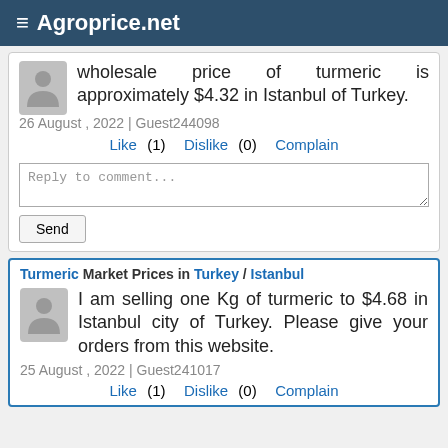≡ Agroprice.net
wholesale price of turmeric is approximately $4.32 in Istanbul of Turkey.
26 August , 2022 | Guest244098
Like (1)   Dislike (0)   Complain
Reply to comment...
Send
Turmeric Market Prices in Turkey / Istanbul
I am selling one Kg of turmeric to $4.68 in Istanbul city of Turkey. Please give your orders from this website.
25 August , 2022 | Guest241017
Like (1)   Dislike (0)   Complain